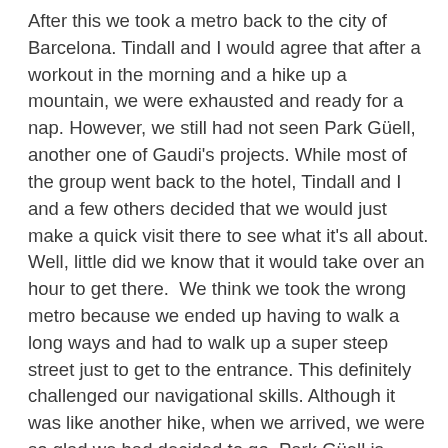After this we took a metro back to the city of Barcelona. Tindall and I would agree that after a workout in the morning and a hike up a mountain, we were exhausted and ready for a nap. However, we still had not seen Park Güell, another one of Gaudi's projects. While most of the group went back to the hotel, Tindall and I and a few others decided that we would just make a quick visit there to see what it's all about. Well, little did we know that it would take over an hour to get there.  We think we took the wrong metro because we ended up having to walk a long ways and had to walk up a super steep street just to get to the entrance. This definitely challenged our navigational skills. Although it was like another hike, when we arrived, we were so glad we had decided to go. Park Güell is another representation of Gaudi's incredible work and his influence on Spain. It was originally built to be a private garden neighborhood, but because it was so out of the ordinary, the government decided it would just be a park open to the public. There are houses (that kind of look like gingerbread houses) with colorful broken tiles, gardens, flowers, and structural design that looks like dripping sand castles. We took advantage of our time there, and on our way back, we stopped to get